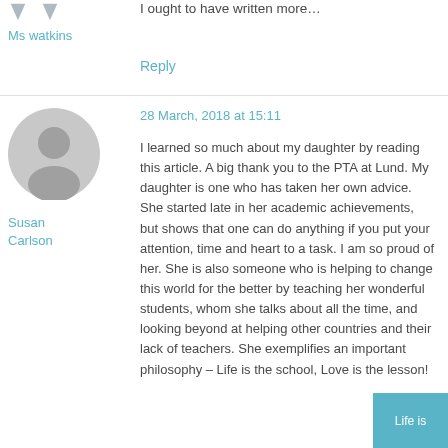I ought to have written more...
Ms watkins
Reply
28 March, 2018 at 15:11
Susan Carlson
I learned so much about my daughter by reading this article. A big thank you to the PTA at Lund. My daughter is one who has taken her own advice. She started late in her academic achievements, but shows that one can do anything if you put your attention, time and heart to a task. I am so proud of her. She is also someone who is helping to change this world for the better by teaching her wonderful students, whom she talks about all the time, and looking beyond at helping other countries and their lack of teachers. She exemplifies an important philosophy – Life is the school, Love is the lesson!